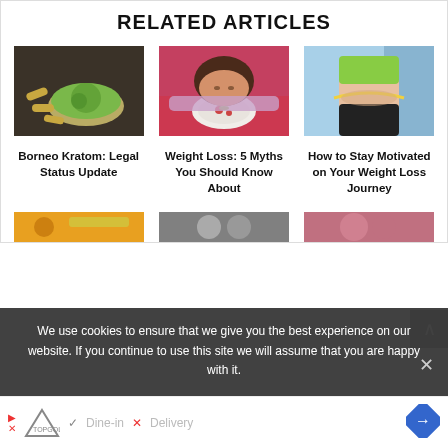RELATED ARTICLES
[Figure (photo): Bowl of green kratom powder with capsules on dark background]
[Figure (photo): Woman with dark hair lying with head on plate of food looking sad]
[Figure (photo): Woman in green sports bra measuring waist with tape measure]
Borneo Kratom: Legal Status Update
Weight Loss: 5 Myths You Should Know About
How to Stay Motivated on Your Weight Loss Journey
[Figure (photo): Partial image row - article thumbnails partially visible at bottom]
We use cookies to ensure that we give you the best experience on our website. If you continue to use this site we will assume that you are happy with it.